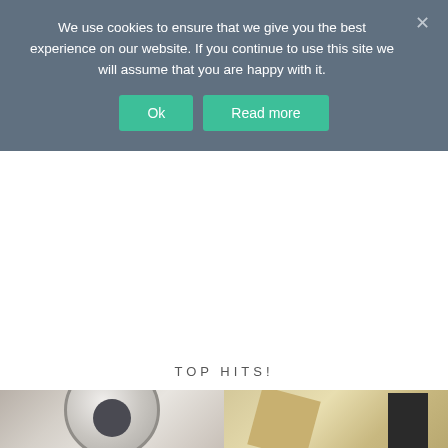We use cookies to ensure that we give you the best experience on our website. If you continue to use this site we will assume that you are happy with it.
Ok
Read more
TOP HITS!
[Figure (photo): Two product photos: left shows a roll of tape on light background; right shows geometric wooden/golden shapes on light background.]